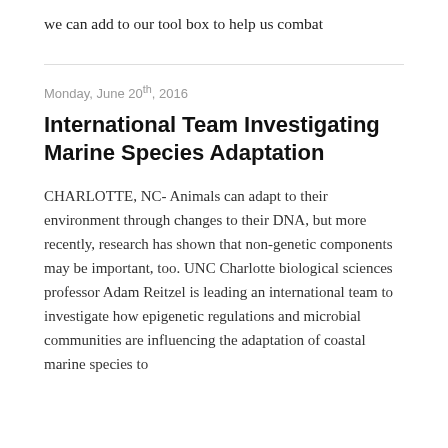we can add to our tool box to help us combat
Monday, June 20th, 2016
International Team Investigating Marine Species Adaptation
CHARLOTTE, NC- Animals can adapt to their environment through changes to their DNA, but more recently, research has shown that non-genetic components may be important, too. UNC Charlotte biological sciences professor Adam Reitzel is leading an international team to investigate how epigenetic regulations and microbial communities are influencing the adaptation of coastal marine species to